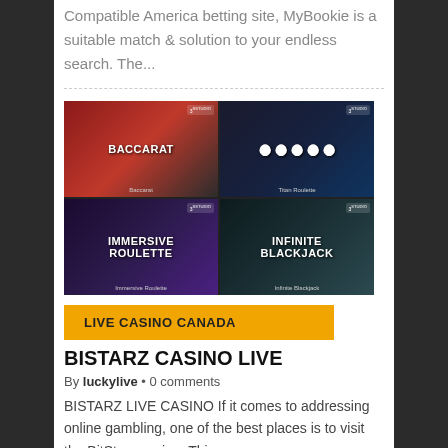Compatible America betting site, MyBookie is a suitable match & solution to your endless search. The...
[Figure (photo): Four casino game thumbnails in a 2x2 grid: Baccarat (top-left), Live Roulette (top-right), Immersive Roulette (bottom-left), Infinite Blackjack (bottom-right)]
LIVE CASINO CANADA
BISTARZ CASINO LIVE
By luckylive • 0 comments
BISTARZ LIVE CASINO If it comes to addressing online gambling, one of the best places is to visit the BitStarz casino. This